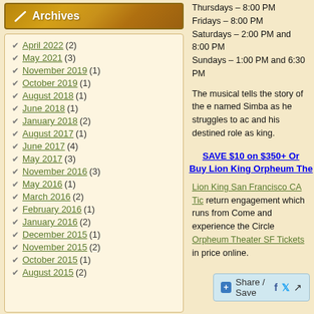Archives
April 2022 (2)
May 2021 (3)
November 2019 (1)
October 2019 (1)
August 2018 (1)
June 2018 (1)
January 2018 (2)
August 2017 (1)
June 2017 (4)
May 2017 (3)
November 2016 (3)
May 2016 (1)
March 2016 (2)
February 2016 (1)
January 2016 (2)
December 2015 (1)
November 2015 (2)
October 2015 (1)
August 2015 (2)
Thursdays – 8:00 PM
Fridays – 8:00 PM
Saturdays – 2:00 PM and 8:00 PM
Sundays – 1:00 PM and 6:30 PM
The musical tells the story of the e named Simba as he struggles to ac and his destined role as king.
SAVE $10 on $350+ Or Buy Lion King Orpheum The
Lion King San Francisco CA Tickets return engagement which runs from Come and experience the Circle Orpheum Theater SF Tickets in price online.
Share / Save
Posted in Uncategorized | Tags: Lion Francisco 2016, Lion King Orpheu Tickets, Lion King Orpheum Theate Lion King Orpheum Theater SF, Li Tickets, Lion King San Francisco C Francisco CA Tickets Online, Lion Tickets, Lion King San Francisco T Francisco Tour 2016, Lion King To Tickets, Lion King Tour Update